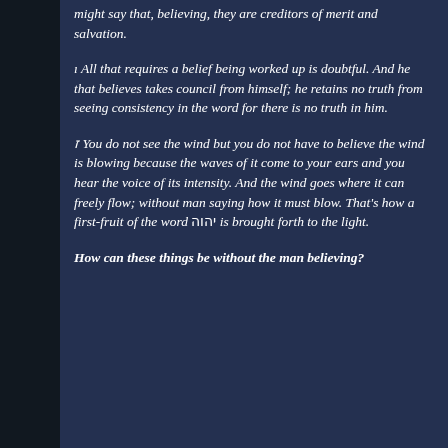might say that, believing, they are creditors of merit and salvation.
ı All that requires a belief being worked up is doubtful. And he that believes takes council from himself; he retains no truth from seeing consistency in the word for there is no truth in him.
ז You do not see the wind but you do not have to believe the wind is blowing because the waves of it come to your ears and you hear the voice of its intensity. And the wind goes where it can freely flow; without man saying how it must blow. That's how a first-fruit of the word יהוה is brought forth to the light.
How can these things be without the man believing?